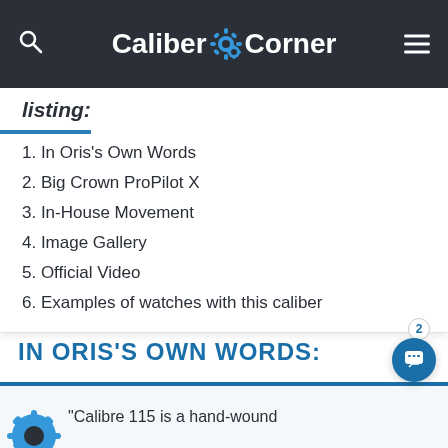Caliber Corner
listing:
1. In Oris's Own Words
2. Big Crown ProPilot X
3. In-House Movement
4. Image Gallery
5. Official Video
6. Examples of watches with this caliber
IN ORIS'S OWN WORDS:
“Calibre 115 is a hand-wound